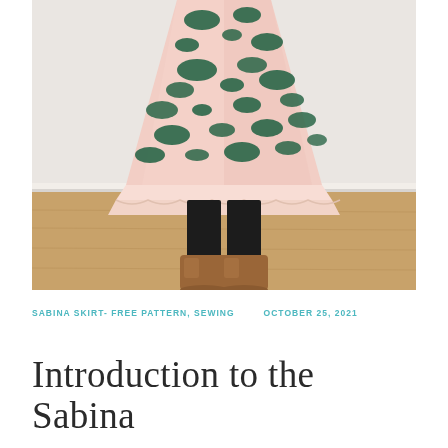[Figure (photo): A person wearing a pink leopard print midi skirt with ruffled hem, black leggings, and tan ankle boots, standing against a white wall with light wood floor.]
SABINA SKIRT- FREE PATTERN, SEWING    OCTOBER 25, 2021
Introduction to the Sabina